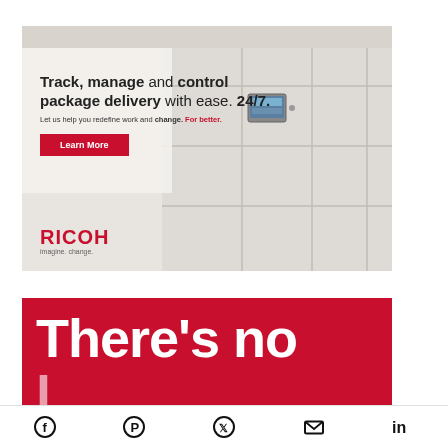[Figure (photo): Ricoh advertisement showing package delivery locker system with headline 'Track, manage and control package delivery with ease. 24/7.' and a Learn More button, with Ricoh logo and tagline 'imagine. change.']
[Figure (infographic): Red banner with large white bold text reading 'There's no' (cut off at bottom)]
[Figure (other): Social media icon bar with Facebook, Pinterest, Twitter, Email, and LinkedIn icons]